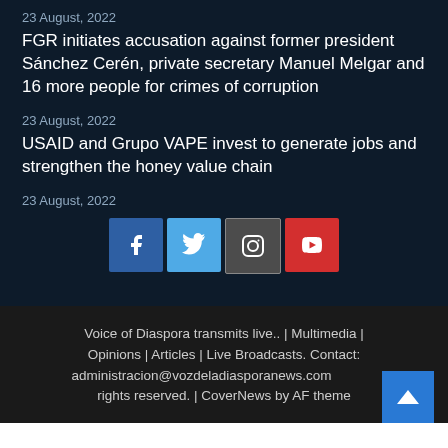23 August, 2022
FGR initiates accusation against former president Sánchez Cerén, private secretary Manuel Melgar and 16 more people for crimes of corruption
23 August, 2022
USAID and Grupo VAPE invest to generate jobs and strengthen the honey value chain
23 August, 2022
[Figure (infographic): Social media icon buttons: Facebook (blue), Twitter (light blue), Instagram (dark grey), YouTube (red)]
Voice of Diaspora transmits live.. | Multimedia | Opinions | Articles | Live Broadcasts. Contact: administracion@vozdeladiasporanews.com  rights reserved. | CoverNews by AF theme